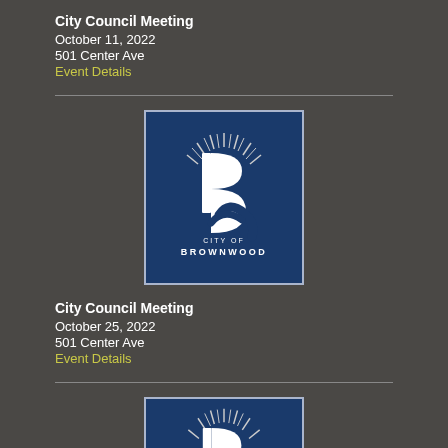City Council Meeting
October 11, 2022
501 Center Ave
Event Details
[Figure (logo): City of Brownwood logo — white stylized B with sunrays and road on blue background, with text CITY OF BROWNWOOD below]
City Council Meeting
October 25, 2022
501 Center Ave
Event Details
[Figure (logo): City of Brownwood logo — white stylized B with sunrays and road on blue background (partially visible)]